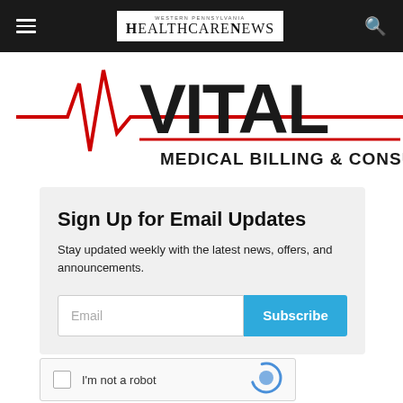Western Pennsylvania HealthcareNews
[Figure (logo): VITAL Medical Billing & Consulting logo with red EKG heartbeat line graphic]
Sign Up for Email Updates
Stay updated weekly with the latest news, offers, and announcements.
[Figure (screenshot): Email input field with placeholder 'Email' and blue Subscribe button]
[Figure (other): reCAPTCHA widget with checkbox and 'I'm not a robot' text]